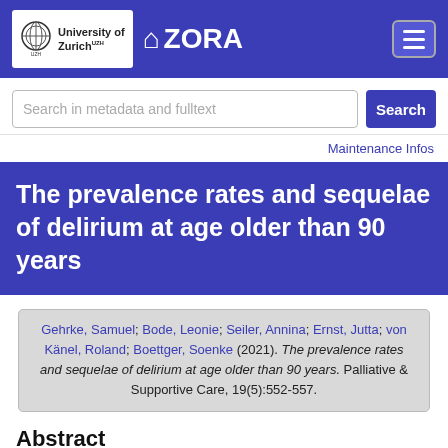University of Zurich | ZORA
Search in metadata and fulltext
Maintenance Infos
The prevalence rates and sequelae of delirium at age older than 90 years
Gehrke, Samuel; Bode, Leonie; Seiler, Annina; Ernst, Jutta; von Känel, Roland; Boettger, Soenke (2021). The prevalence rates and sequelae of delirium at age older than 90 years. Palliative & Supportive Care, 19(5):552-557.
Abstract
Objective